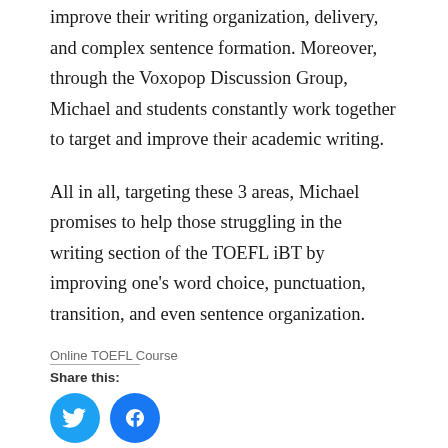improve their writing organization, delivery, and complex sentence formation. Moreover, through the Voxopop Discussion Group, Michael and students constantly work together to target and improve their academic writing.
All in all, targeting these 3 areas, Michael promises to help those struggling in the writing section of the TOEFL iBT by improving one’s word choice, punctuation, transition, and even sentence organization.
Online TOEFL Course
Share this: